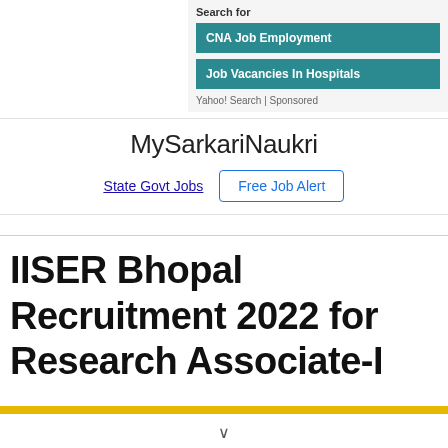Search for
CNA Job Employment
Job Vacancies In Hospitals
Yahoo! Search | Sponsored
MySarkariNaukri
State Govt Jobs
Free Job Alert
IISER Bhopal Recruitment 2022 for Research Associate-I